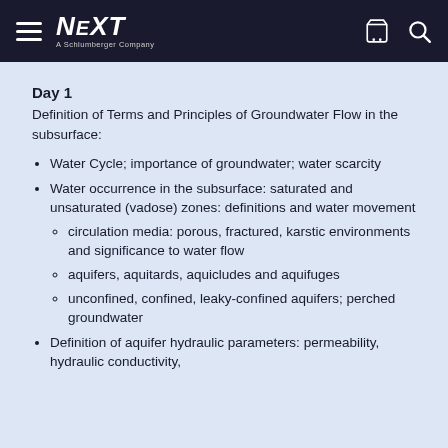NEXT A Schlumberger Company
Day 1
Definition of Terms and Principles of Groundwater Flow in the subsurface:
Water Cycle; importance of groundwater; water scarcity
Water occurrence in the subsurface: saturated and unsaturated (vadose) zones: definitions and water movement
circulation media: porous, fractured, karstic environments and significance to water flow
aquifers, aquitards, aquicludes and aquifuges
unconfined, confined, leaky-confined aquifers; perched groundwater
Definition of aquifer hydraulic parameters: permeability, hydraulic conductivity,